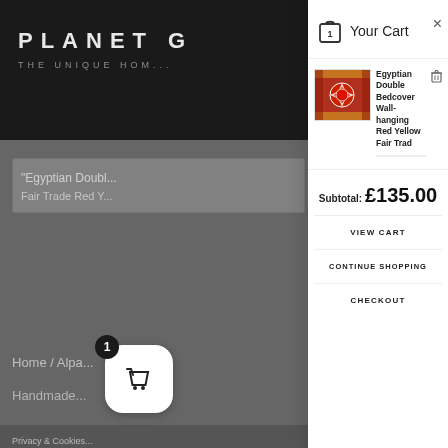[Figure (screenshot): Background blurred website page for Planet (unique home goods store), partially visible behind a shopping cart overlay panel]
Your Cart
Egyptian Double Bedcover Wall-hanging Red Yellow Fair Trade Red...
Subtotal: £135.00
VIEW CART
CONTINUE SHOPPING
CHECKOUT